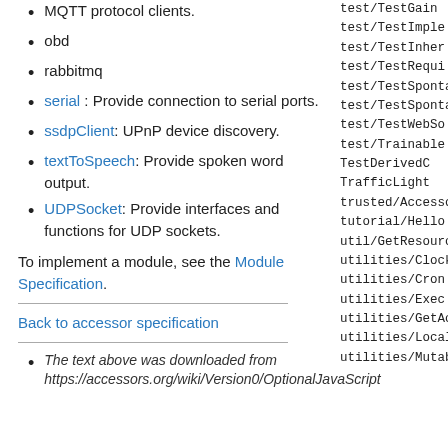MQTT protocol clients.
obd
rabbitmq
serial : Provide connection to serial ports.
ssdpClient: UPnP device discovery.
textToSpeech: Provide spoken word output.
UDPSocket: Provide interfaces and functions for UDP sockets.
To implement a module, see the Module Specification.
Back to accessor specification
The text above was downloaded from https://accessors.org/wiki/Version0/OptionalJavaScript
[Figure (other): Right column showing monospace file path list: test/TestGain, test/TestImple, test/TestInher, test/TestRequi, test/TestSponta, test/TestSponta, test/TestWebSo, test/TrainableT, TestDerivedC, TrafficLight, trusted/Accesso, tutorial/Hello, util/GetResourc, utilities/Clock, utilities/Cron, utilities/Exec, utilities/GetAc, utilities/Local, utilities/Mutab]